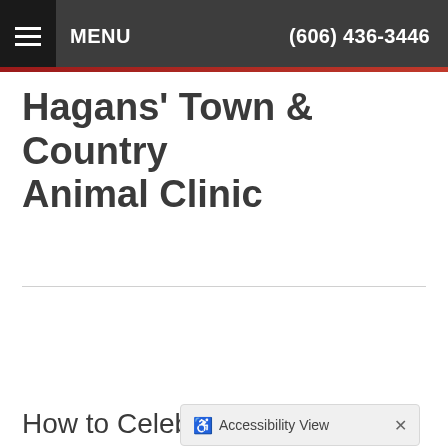MENU   (606) 436-3446
Hagans' Town & Country Animal Clinic
How to Celebrat... g